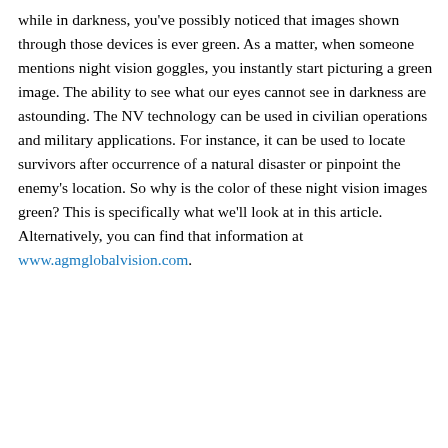while in darkness, you've possibly noticed that images shown through those devices is ever green. As a matter, when someone mentions night vision goggles, you instantly start picturing a green image. The ability to see what our eyes cannot see in darkness are astounding. The NV technology can be used in civilian operations and military applications. For instance, it can be used to locate survivors after occurrence of a natural disaster or pinpoint the enemy's location. So why is the color of these night vision images green? This is specifically what we'll look at in this article. Alternatively, you can find that information at www.agmglobalvision.com.
[Figure (screenshot): Infolinks advertisement bar with close button and grey ad area below]